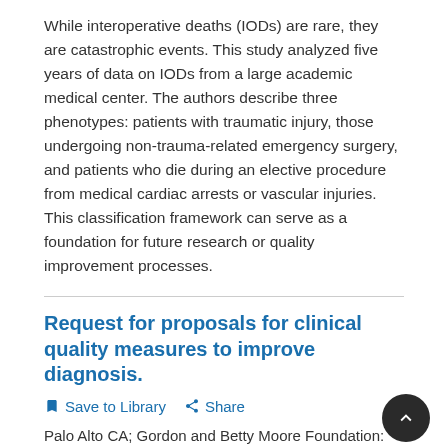While interoperative deaths (IODs) are rare, they are catastrophic events. This study analyzed five years of data on IODs from a large academic medical center. The authors describe three phenotypes: patients with traumatic injury, those undergoing non-trauma-related emergency surgery, and patients who die during an elective procedure from medical cardiac arrests or vascular injuries. This classification framework can serve as a foundation for future research or quality improvement processes.
Request for proposals for clinical quality measures to improve diagnosis.
Palo Alto CA; Gordon and Betty Moore Foundation: February 22, 2022.